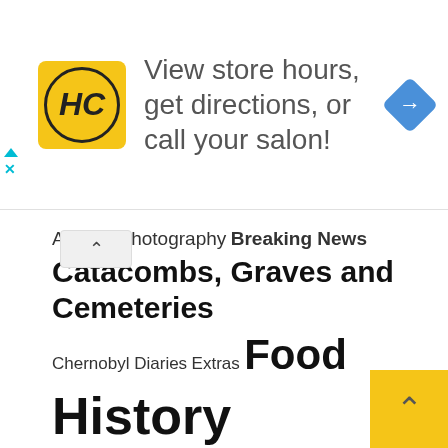[Figure (screenshot): Advertisement banner for HC Salon chain: yellow square logo with HC letters, text 'View store hours, get directions, or call your salon!', blue navigation diamond icon on the right. A cyan triangle and X button appear on the left edge.]
Art and Photography
Breaking News
Catacombs, Graves and Cemeteries
Chernobyl Diaries
Extras
Food
History
Holiday, folklore and Traditions
Lighthouses of the world
Motors
Music
Myths and Legends
People, mysteries and stories
Random Christmas 2019
Random Christmas 2020
Random Christmas 2021
Today In